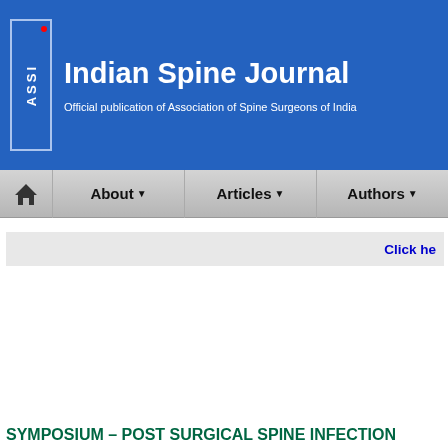Indian Spine Journal
Official publication of Association of Spine Surgeons of India
About  Articles  Authors
Click here
SYMPOSIUM – POST SURGICAL SPINE INFECTION